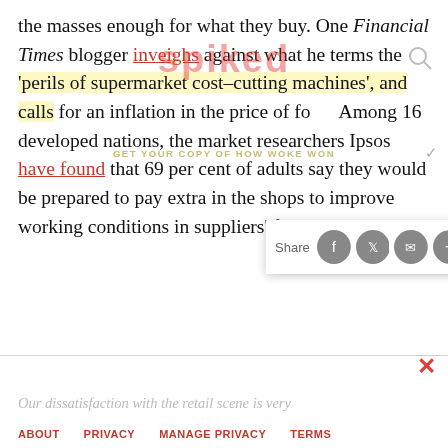the masses enough for what they buy. One Financial Times blogger inveighs against what he terms the 'perils of supermarket cost-cutting machines', and calls for an inflation in the price of fo[od]. Among 16 developed nations, the market researchers Ipsos have found that 69 per cent of adults say they would be prepared to pay extra in the shops to improve working conditions in suppliers' factories.
[Figure (screenshot): Share bar overlay with Facebook, Twitter, email, and plus buttons on a white card]
[Figure (screenshot): Spiked logo watermark and GET YOUR COPY OF HOW WOKE WON promotional text overlay]
[Figure (other): Grey advertisement placeholder box]
Our dissatisfaction with the retail scene is very
ABOUT   PRIVACY   MANAGE PRIVACY   TERMS